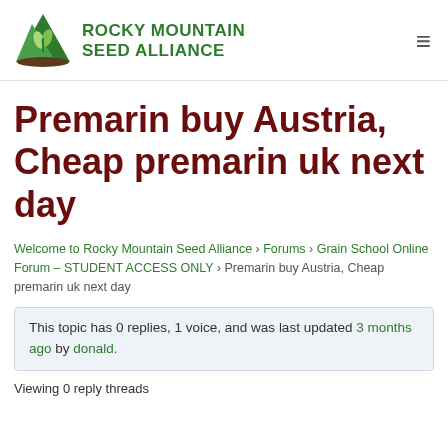[Figure (logo): Rocky Mountain Seed Alliance logo with green mountain and plant icon and green bold text]
Premarin buy Austria, Cheap premarin uk next day
Welcome to Rocky Mountain Seed Alliance › Forums › Grain School Online Forum – STUDENT ACCESS ONLY › Premarin buy Austria, Cheap premarin uk next day
This topic has 0 replies, 1 voice, and was last updated 3 months ago by donald.
Viewing 0 reply threads